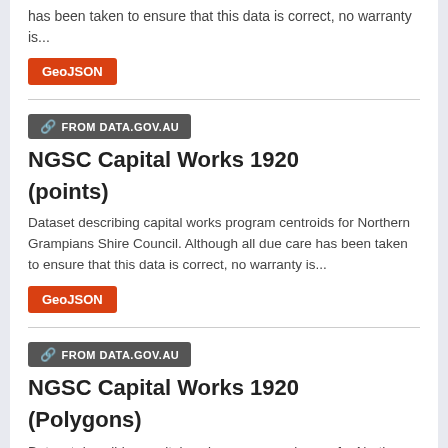has been taken to ensure that this data is correct, no warranty is...
GeoJSON
FROM DATA.GOV.AU  NGSC Capital Works 1920 (points)
Dataset describing capital works program centroids for Northern Grampians Shire Council. Although all due care has been taken to ensure that this data is correct, no warranty is...
GeoJSON
FROM DATA.GOV.AU  NGSC Capital Works 1920 (Polygons)
Dataset describing capital works program polygons for Northern Grampians Shire Council. Although all due care has been taken to ensure that this data is correct, no warranty is...
GeoJSON